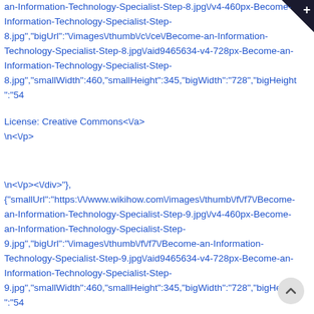an-Information-Technology-Specialist-Step-8.jpg\/v4-460px-Become-Information-Technology-Specialist-Step-8.jpg","bigUrl":"\/images\/thumb\/c\/ce\/Become-an-Information-Technology-Specialist-Step-8.jpg\/aid9465634-v4-728px-Become-an-Information-Technology-Specialist-Step-8.jpg","smallWidth":460,"smallHeight":345,"bigWidth":"728","bigHeight":"54
License: Creative Commons<\/a>
\n<\/p>
\n<\/p><\/div>"},{"smallUrl":"https:\/\/www.wikihow.com\/images\/thumb\/f\/f7\/Become-an-Information-Technology-Specialist-Step-9.jpg\/v4-460px-Become-an-Information-Technology-Specialist-Step-9.jpg","bigUrl":"\/images\/thumb\/f\/f7\/Become-an-Information-Technology-Specialist-Step-9.jpg\/aid9465634-v4-728px-Become-an-Information-Technology-Specialist-Step-9.jpg","smallWidth":460,"smallHeight":345,"bigWidth":"728","bigHeight":"54
License: Creative Commons<\/a>
\n<\/p>